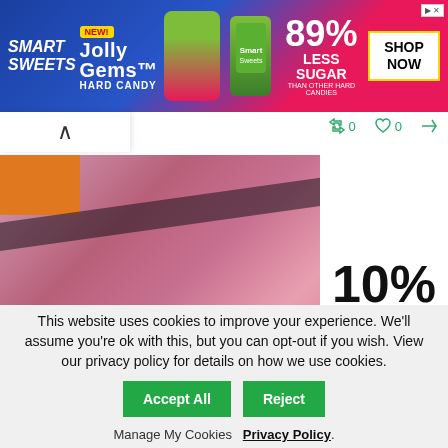[Figure (photo): Smart Sweets Jolly Gems Hard Candy advertisement banner. Blue and pink background with candy images. Text: NEW!, JOLLY GEMS, HARD CANDY, SMART SWEETS, 89% LESS SUGAR THAN OTHER HARD CANDIES, SHOP NOW. Ad marker in top right.]
[Figure (screenshot): Navigation bar with chevron up arrow. Social action buttons showing retweet icon with 0, heart icon with 0, and share icon.]
[Figure (photo): Product photo showing pink/mauve fabric or material with orange corner and dark diagonal stripe. White chevron tag on right side showing 10% Off in large bold black text.]
This website uses cookies to improve your experience. We'll assume you're ok with this, but you can opt-out if you wish. View our privacy policy for details on how we use cookies.
Accept All   Reject
Manage My Cookies   Privacy Policy